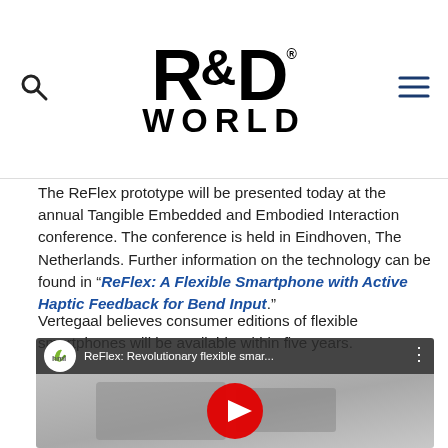R&D World logo with search and menu icons
The ReFlex prototype will be presented today at the annual Tangible Embedded and Embodied Interaction conference. The conference is held in Eindhoven, The Netherlands. Further information on the technology can be found in “ReFlex: A Flexible Smartphone with Active Haptic Feedback for Bend Input.”
Vertegaal believes consumer editions of flexible smartphones will be available within five years.
[Figure (screenshot): YouTube video thumbnail showing ReFlex: Revolutionary flexible smar... with a person bending a flexible smartphone displaying comic book images, with YouTube play button overlay]